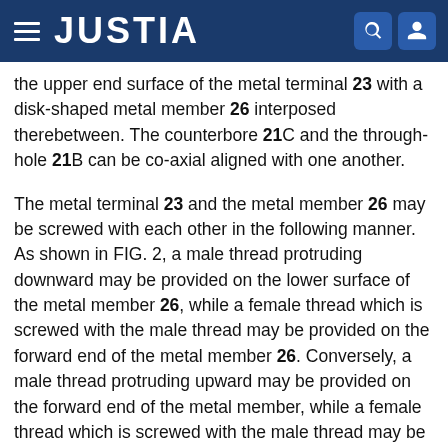JUSTIA
the upper end surface of the metal terminal 23 with a disk-shaped metal member 26 interposed therebetween. The counterbore 21C and the through-hole 21B can be co-axial aligned with one another.
The metal terminal 23 and the metal member 26 may be screwed with each other in the following manner. As shown in FIG. 2, a male thread protruding downward may be provided on the lower surface of the metal member 26, while a female thread which is screwed with the male thread may be provided on the forward end of the metal member 26. Conversely, a male thread protruding upward may be provided on the forward end of the metal member, while a female thread which is screwed with the male thread may be provided on the lower surface of the metal member. In whichever case, the area of contact between the metal terminal and the